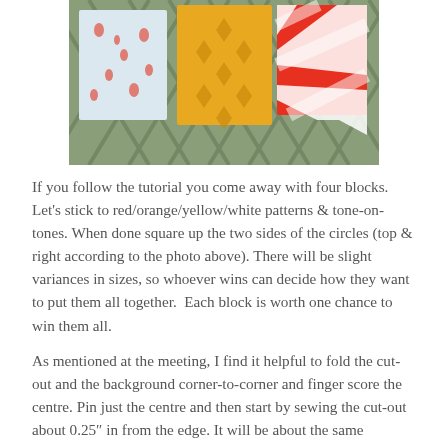[Figure (photo): Three fabric squares with different patterns (floral white/blue, yellow geometric diamond, red and white diagonal stripes) arranged on a wooden lattice background.]
If you follow the tutorial you come away with four blocks. Let's stick to red/orange/yellow/white patterns & tone-on-tones. When done square up the two sides of the circles (top & right according to the photo above). There will be slight variances in sizes, so whoever wins can decide how they want to put them all together.  Each block is worth one chance to win them all.
As mentioned at the meeting, I find it helpful to fold the cut-out and the background corner-to-corner and finger score the centre. Pin just the centre and then start by sewing the cut-out about 0.25" in from the edge. It will be about the same shortness on the other end. Trim the overhang and press seams towards the background.